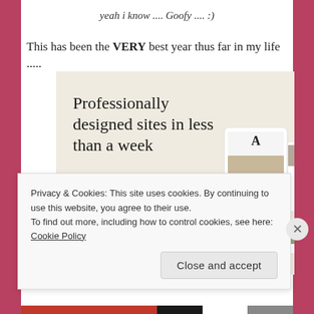yeah i know .... Goofy .... :)
This has been the VERY best year thus far in my life .....
[Figure (screenshot): Advertisement banner with beige background. Heading: 'Professionally designed sites in less than a week'. Green 'Explore options' button. Website screenshots shown on right side.]
Privacy & Cookies: This site uses cookies. By continuing to use this website, you agree to their use.
To find out more, including how to control cookies, see here: Cookie Policy
[Close and accept button]